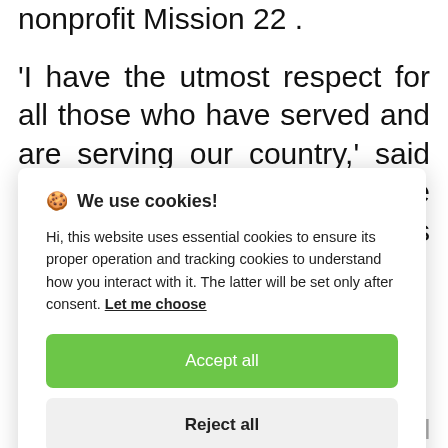nonprofit Mission 22 .
'I have the utmost respect for all those who have served and are serving our country,' said Karen Worcester, Executive Director, Wreaths Across America. 'This
🍪 We use cookies!
Hi, this website uses essential cookies to ensure its proper operation and tracking cookies to understand how you interact with it. The latter will be set only after consent. Let me choose
Accept all
Reject all
Page continues below...